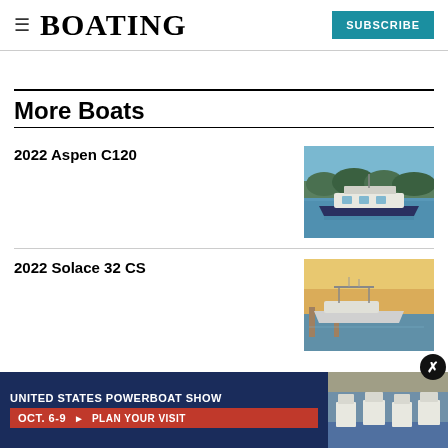BOATING | SUBSCRIBE
More Boats
2022 Aspen C120
[Figure (photo): 2022 Aspen C120 boat on water with forested background]
2022 Solace 32 CS
[Figure (photo): 2022 Solace 32 CS boat at dock at sunset]
[Figure (infographic): United States Powerboat Show advertisement banner: OCT. 6-9 PLAN YOUR VISIT]